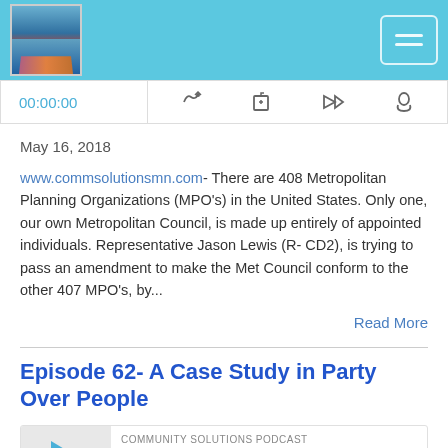Community Solutions Podcast - header with logo and navigation
00:00:00
May 16, 2018
www.commsolutionsmn.com- There are 408 Metropolitan Planning Organizations (MPO's) in the United States. Only one, our own Metropolitan Council, is made up entirely of appointed individuals. Representative Jason Lewis (R- CD2), is trying to pass an amendment to make the Met Council conform to the other 407 MPO's, by...
Read More
Episode 62- A Case Study in Party Over People
COMMUNITY SOLUTIONS PODCAST
Episode 62- A Case Study in Party Over People